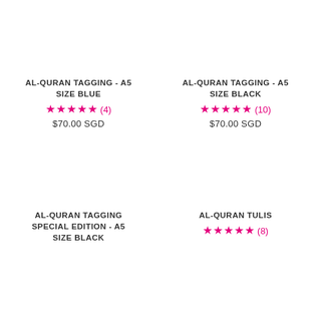AL-QURAN TAGGING - A5 SIZE BLUE
★★★★★ (4)
$70.00 SGD
AL-QURAN TAGGING - A5 SIZE BLACK
★★★★★ (10)
$70.00 SGD
AL-QURAN TAGGING SPECIAL EDITION - A5 SIZE BLACK
AL-QURAN TULIS
★★★★★ (8)